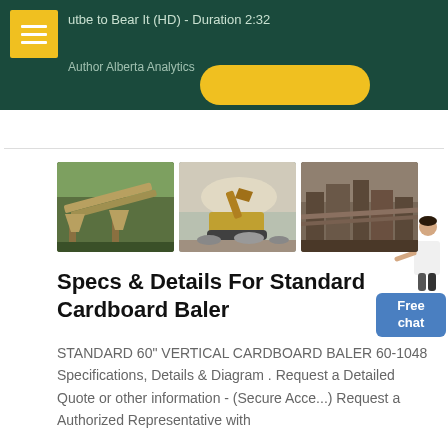utube to Bear It (HD) - Duration 2:32
Author Alberta Analytics [...]
[Figure (photo): Three photos of mining/quarry conveyor equipment side by side]
Specs & Details For Standard Cardboard Baler
STANDARD 60" VERTICAL CARDBOARD BALER 60-1048 Specifications, Details & Diagram . Request a Detailed Quote or other information - (Secure Acce...) Request a Authorized Representative with...